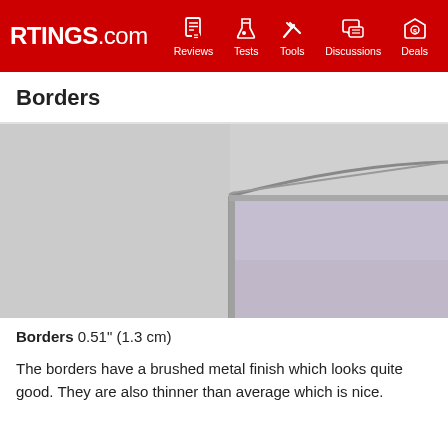RTINGS.com | Reviews | Tests | Tools | Discussions | Deals
Borders
[Figure (photo): Close-up photograph of the top-left corner of a TV showing a thin brushed metal border/bezel against a light gray background. The screen area shows a slight purplish tint.]
Borders  0.51" (1.3 cm)
The borders have a brushed metal finish which looks quite good. They are also thinner than average which is nice.